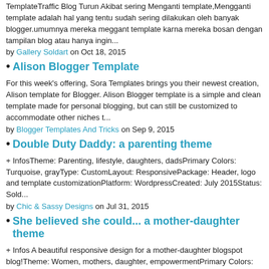TemplateTraffic Blog Turun Akibat sering Menganti template,Mengganti template adalah hal yang tentu sudah sering dilakukan oleh banyak blogger.umumnya mereka meggant template karna mereka bosan dengan tampilan blog atau hanya ingin...
by Gallery Soldart on Oct 18, 2015
Alison Blogger Template
For this week's offering, Sora Templates brings you their newest creation, Alison template for Blogger. Alison Blogger template is a simple and clean template made for personal blogging, but can still be customized to accommodate other niches t...
by Blogger Templates And Tricks on Sep 9, 2015
Double Duty Daddy: a parenting theme
+  InfosTheme: Parenting, lifestyle, daughters, dadsPrimary Colors: Turquoise, grayType: CustomLayout:  ResponsivePackage: Header, logo and template customizationPlatform: WordpressCreated: July 2015Status: Sold...
by Chic & Sassy Designs on Jul 31, 2015
She believed she could... a mother-daughter theme
+  Infos A beautiful responsive design for a mother-daughter blogspot blog!Theme: Women, mothers, daughter, empowermentPrimary Colors: Pink, whiteType: PremadeLayout: Dynamic (choose your own layout),  ResponsivePackage: Hea...
by Chic & Sassy Designs on Jul 29, 2015
Phimmoi Movie Blogger Templates
Demo Click here    Download Click herePlatform TypeBloggerTemplate NamePhimmoi Movie Blogger TemplatesDesign UrbanplAyer.comAuthorAna